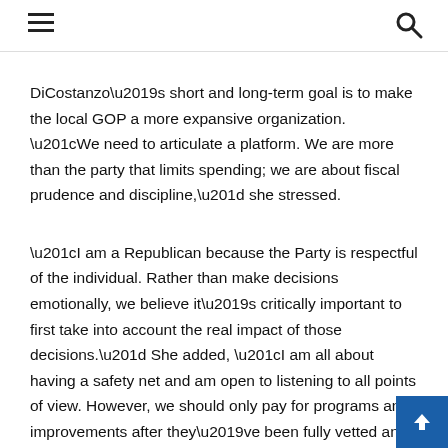navigation bar with hamburger menu and search icon
DiCostanzo’s short and long-term goal is to make the local GOP a more expansive organization. “We need to articulate a platform. We are more than the party that limits spending; we are about fiscal prudence and discipline,” she stressed.
“I am a Republican because the Party is respectful of the individual. Rather than make decisions emotionally, we believe it’s critically important to first take into account the real impact of those decisions.” She added, “I am all about having a safety net and am open to listening to all points of view. However, we should only pay for programs and improvements after they’ve been fully vetted and prioritized.”